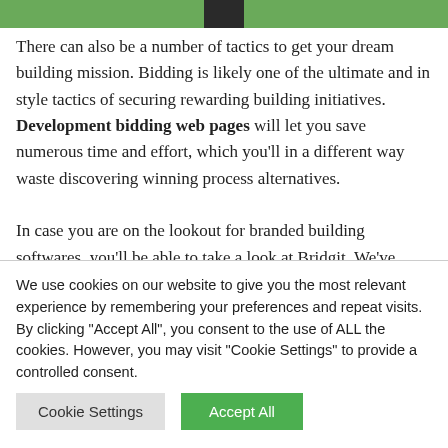[Figure (photo): Green image banner at top of page with dark vertical bar in center]
There can also be a number of tactics to get your dream building mission. Bidding is likely one of the ultimate and in style tactics of securing rewarding building initiatives. Development bidding web pages will let you save numerous time and effort, which you'll in a different way waste discovering winning process alternatives.

In case you are on the lookout for branded building softwares, you'll be able to take a look at Bridgit. We've
We use cookies on our website to give you the most relevant experience by remembering your preferences and repeat visits. By clicking "Accept All", you consent to the use of ALL the cookies. However, you may visit "Cookie Settings" to provide a controlled consent.
Cookie Settings  Accept All